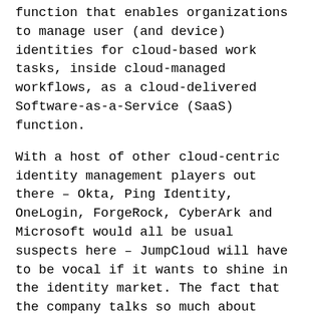function that enables organizations to manage user (and device) identities for cloud-based work tasks, inside cloud-managed workflows, as a cloud-delivered Software-as-a-Service (SaaS) function.
With a host of other cloud-centric identity management players out there – Okta, Ping Identity, OneLogin, ForgeRock, CyberArk and Microsoft would all be usual suspects here – JumpCloud will have to be vocal if it wants to shine in the identity market. The fact that the company talks so much about small and mid-size companies does (arguably) set it apart, but how long will this go unnoticed by all the others that are out there?
Given that we now live with smart machines and IoT digital twins that themselves also need identity management alongside us human users, the growth of